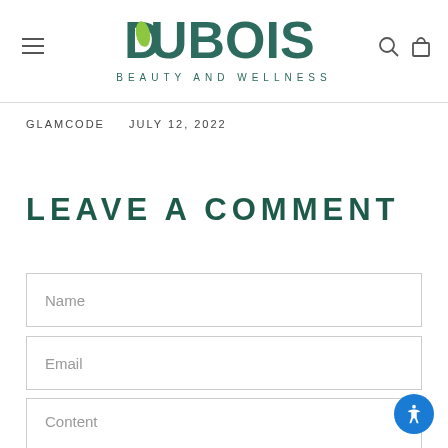DUBOIS BEAUTY AND WELLNESS
GLAMCODE   JULY 12, 2022
LEAVE A COMMENT
Name
Email
Content